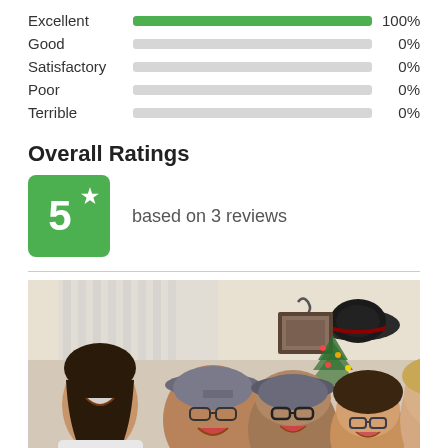[Figure (bar-chart): Rating Distribution]
Overall Ratings
5 ★ based on 3 reviews
[Figure (photo): Group selfie of five people smiling and laughing indoors, with a Christmas tree in the background. One person is wearing a flat cap, another a black hat. The setting appears to be a home decorated for the holidays.]